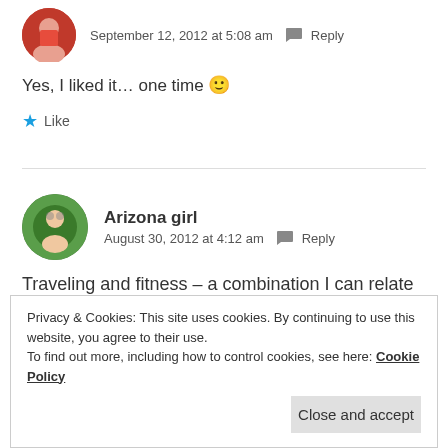September 12, 2012 at 5:08 am  Reply
Yes, I liked it... one time 🙂
★ Like
Arizona girl
August 30, 2012 at 4:12 am  Reply
Traveling and fitness – a combination I can relate to!
Privacy & Cookies: This site uses cookies. By continuing to use this website, you agree to their use.
To find out more, including how to control cookies, see here: Cookie Policy
Close and accept